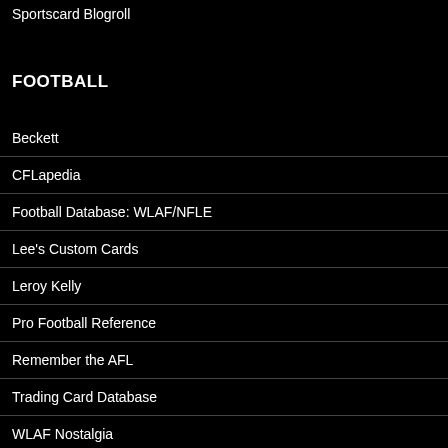Sportscard Blogroll
FOOTBALL
Beckett
CFLapedia
Football Database: WLAF/NFLE
Lee's Custom Cards
Leroy Kelly
Pro Football Reference
Remember the AFL
Trading Card Database
WLAF Nostalgia